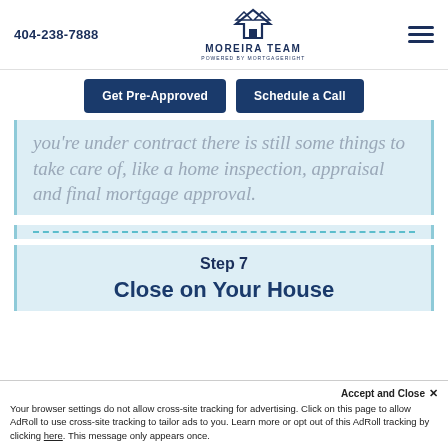404-238-7888 | MOREIRA TEAM | (hamburger menu)
[Figure (logo): Moreira Team logo with house/mountain icon and text MOREIRA TEAM POWERED BY MORTGAGERIGHT]
Get Pre-Approved | Schedule a Call
you're under contract there is still some things to take care of, like a home inspection, appraisal and final mortgage approval.
Step 7
Close on Your House
Accept and Close ✕ Your browser settings do not allow cross-site tracking for advertising. Click on this page to allow AdRoll to use cross-site tracking to tailor ads to you. Learn more or opt out of this AdRoll tracking by clicking here. This message only appears once.